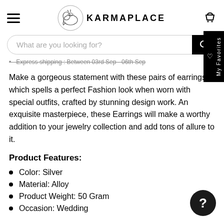KARMAPLACE
What are you looking for?
Express shipping : Between 03rd Sep - 06th Sep
Make a gorgeous statement with these pairs of earrings which spells a perfect Fashion look when worn with special outfits, crafted by stunning design work. An exquisite masterpiece, these Earrings will make a worthy addition to your jewelry collection and add tons of allure to it.
Product Features:
Color: Silver
Material: Alloy
Product Weight: 50 Gram
Occasion: Wedding